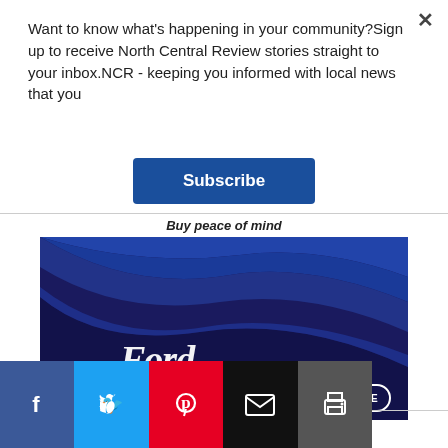Want to know what's happening in your community?Sign up to receive North Central Review stories straight to your inbox.NCR - keeping you informed with local news that you
Subscribe
[Figure (illustration): Ford Central Ford Kilmore advertisement with dark blue background, swooping blue curves, Ford script logo, and FIND OUT MORE button. Caption: Buy peace of mind]
[Figure (infographic): Social sharing bar with Facebook, Twitter, Pinterest, Email, and Print buttons]